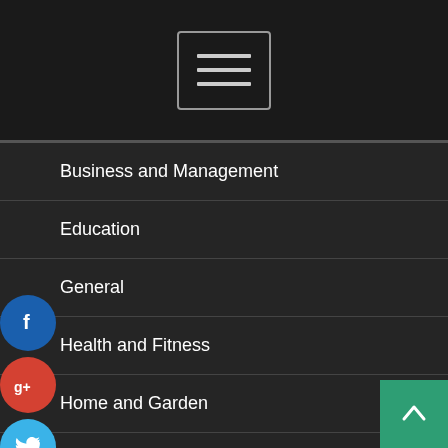[Figure (other): Hamburger menu button icon with three horizontal lines inside a rounded rectangle border]
Business and Management
Education
General
Health and Fitness
Home and Garden
Legal
Marketing and Advertising
Music
Pets
[Figure (logo): Four social media circular icon buttons: Facebook (blue, f), Google+ (red, g+), Twitter (blue bird), and a blue plus/add button stacked vertically on the left side]
[Figure (other): Green back-to-top button with upward chevron arrow in bottom right corner]